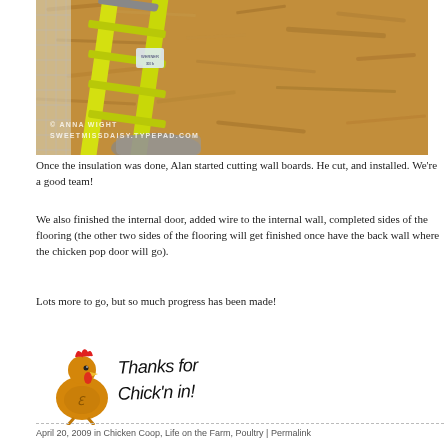[Figure (photo): Photo of a yellow ladder leaning against OSB wood panel walls inside a chicken coop under construction. Copyright watermark reads: © Anna Wight SweetMissDaisy.Typepad.com]
Once the insulation was done, Alan started cutting wall boards. He cut, and installed. We're a good team!
We also finished the internal door, added wire to the internal wall, completed sides of the flooring (the other two sides of the flooring will get finished once have the back wall where the chicken pop door will go).
Lots more to go, but so much progress has been made!
[Figure (illustration): Cartoon chicken with text 'Thanks for Chick'n in!']
April 20, 2009 in Chicken Coop, Life on the Farm, Poultry | Permalink